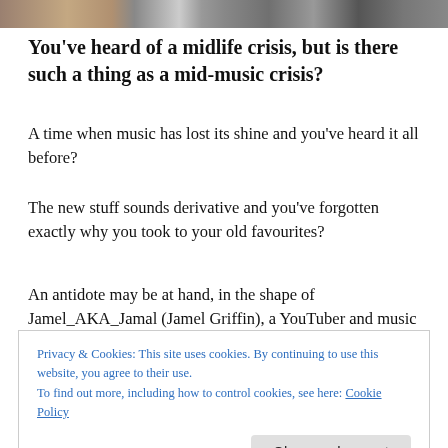[Figure (photo): A horizontal strip of photos across the top of the page]
You've heard of a midlife crisis, but is there such a thing as a mid-music crisis?
A time when music has lost its shine and you've heard it all before?
The new stuff sounds derivative and you've forgotten exactly why you took to your old favourites?
An antidote may be at hand, in the shape of Jamel_AKA_Jamal (Jamel Griffin), a YouTuber and music
Privacy & Cookies: This site uses cookies. By continuing to use this website, you agree to their use.
To find out more, including how to control cookies, see here: Cookie Policy
without necessarily being able to identify bands or artists